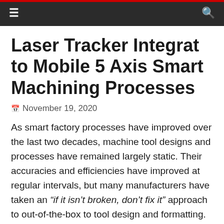☰  Q
Laser Tracker Integrat to Mobile 5 Axis Smart Machining Processes
November 19, 2020
As smart factory processes have improved over the last two decades, machine tool designs and processes have remained largely static. Their accuracies and efficiencies have improved at regular intervals, but many manufacturers have taken an "if it isn't broken, don't fix it" approach to out-of-the-box to tool design and formatting.